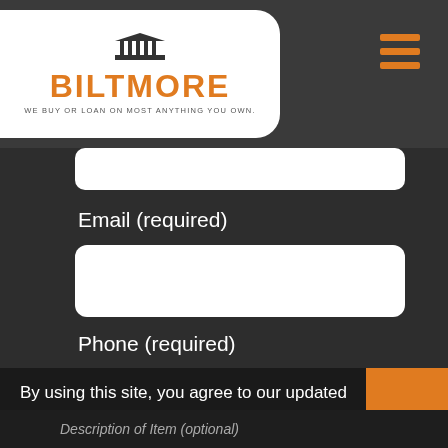[Figure (logo): Biltmore logo with building icon, orange text 'BILTMORE', tagline 'WE BUY OR LOAN ON MOST ANYTHING YOU OWN.']
[Figure (other): Hamburger menu icon with three orange horizontal bars]
Email (required)
Phone (required)
By using this site, you agree to our updated Privacy Policy and our Terms of Use.
x
Description of Item (optional)
[Figure (other): Chat widget showing speech bubble icon and text "We're offline" on orange background]